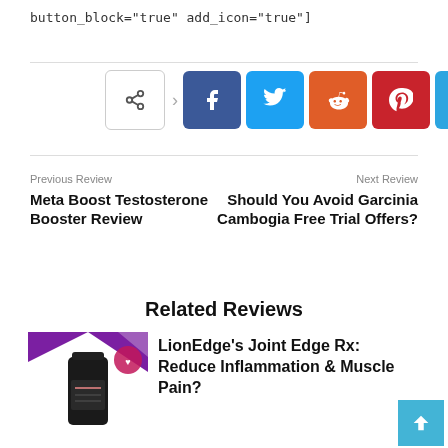button_block="true" add_icon="true"]
[Figure (other): Social share buttons: generic share, Facebook, Twitter, Reddit, Pinterest, Telegram, WhatsApp]
Previous Review
Meta Boost Testosterone Booster Review
Next Review
Should You Avoid Garcinia Cambogia Free Trial Offers?
Related Reviews
[Figure (photo): Dark supplement bottle product image with purple/maroon banner background]
LionEdge’s Joint Edge Rx: Reduce Inflammation & Muscle Pain?